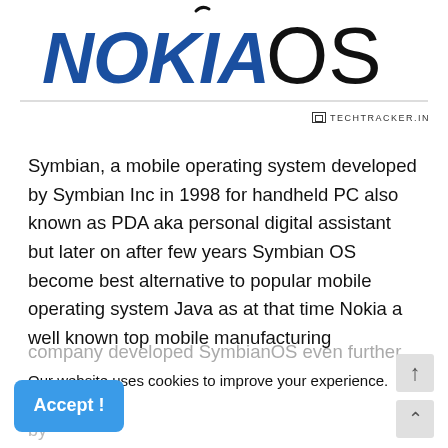[Figure (logo): Nokia OS logo with Nokia in bold italic blue and OS in thin black lettering]
TechTracker.in
Symbian, a mobile operating system developed by Symbian Inc in 1998 for handheld PC also known as PDA aka personal digital assistant but later on after few years Symbian OS become best alternative to popular mobile operating system Java as at that time Nokia a well known top mobile manufacturing
company developed SymbianOS even further
Our website uses cookies to improve your experience. Learn more
Eventhough, Java is most preffered mobile operating system of companies developed by